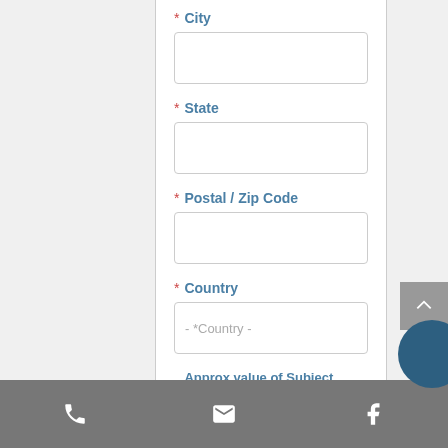* City
* State
* Postal / Zip Code
* Country
* Approx value of Subject Property?